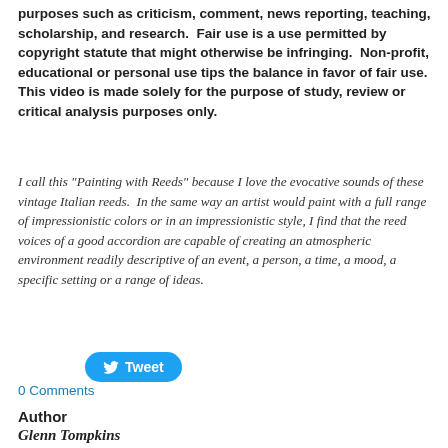purposes such as criticism, comment, news reporting, teaching, scholarship, and research.  Fair use is a use permitted by copyright statute that might otherwise be infringing.  Non-profit, educational or personal use tips the balance in favor of fair use.  This video is made solely for the purpose of study, review or critical analysis purposes only.
I call this "Painting with Reeds" because I love the evocative sounds of these vintage Italian reeds.  In the same way an artist would paint with a full range of impressionistic colors or in an impressionistic style, I find that the reed voices of a good accordion are capable of creating an atmospheric environment readily descriptive of an event, a person, a time, a mood, a specific setting or a range of ideas.
[Figure (other): Twitter Tweet button — a blue rounded-rectangle button with the Twitter bird icon and the text 'Tweet']
0 Comments
Author
Glenn Tompkins